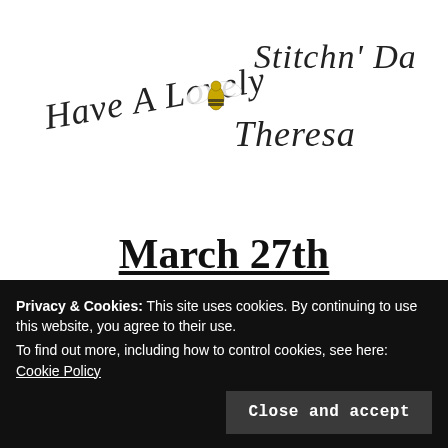[Figure (illustration): Decorative script text reading 'Have A Lovely Stitchn' Day, Theresa' with a small bee illustration in the middle, arranged in a cursive arching style]
March 27th
Bumbleberry Stitches
Quilted Delights
Privacy & Cookies: This site uses cookies. By continuing to use this website, you agree to their use.
To find out more, including how to control cookies, see here:
Cookie Policy
Close and accept